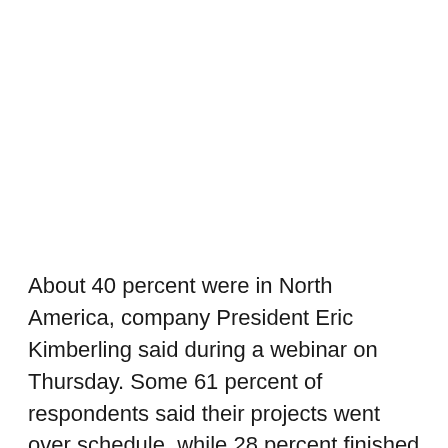About 40 percent were in North America, company President Eric Kimberling said during a webinar on Thursday. Some 61 percent of respondents said their projects went over schedule, while 28 percent finished on time and 11 percent completed the project sooner than expected, according to the report.